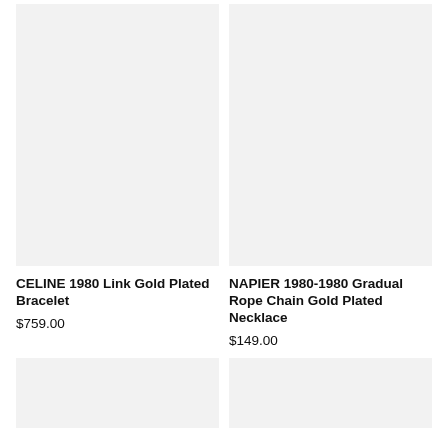[Figure (photo): Product image placeholder for CELINE 1980 Link Gold Plated Bracelet - light grey rectangle]
[Figure (photo): Product image placeholder for NAPIER 1980-1980 Gradual Rope Chain Gold Plated Necklace - light grey rectangle]
CELINE 1980 Link Gold Plated Bracelet
$759.00
NAPIER 1980-1980 Gradual Rope Chain Gold Plated Necklace
$149.00
[Figure (photo): Product image placeholder bottom left - light grey rectangle]
[Figure (photo): Product image placeholder bottom right - light grey rectangle]